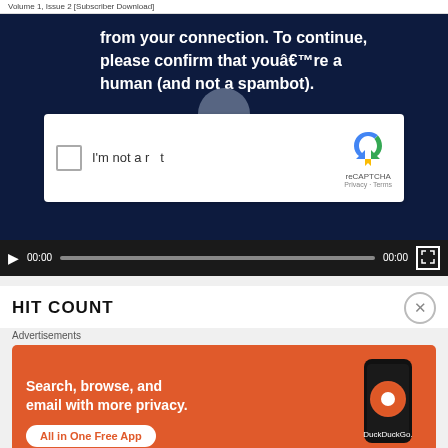Volume 1, Issue 2 [Subscriber Download]
[Figure (screenshot): Video player showing a CAPTCHA verification screen on a dark navy background. Text reads: 'from your connection. To continue, please confirm that youâ€™re a human (and not a spambot).' A reCAPTCHA checkbox widget with 'I’m not a robot' label and reCAPTCHA logo is shown. A video progress bar with 00:00 timestamps and fullscreen button is at the bottom.]
HIT COUNT
[Figure (screenshot): Advertisement banner for DuckDuckGo with orange background. Text: 'Search, browse, and email with more privacy. All in One Free App' with DuckDuckGo logo and phone image.]